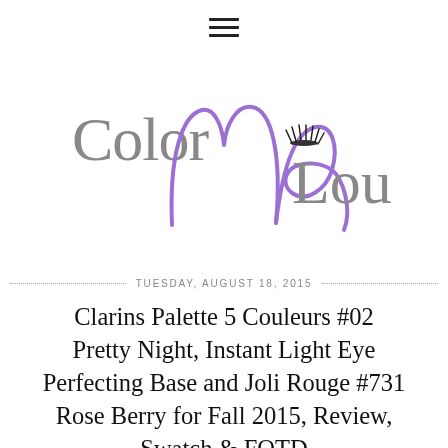[Figure (logo): Color Me Loud blog logo with cursive purple 'Me' and grey 'Color' and 'Loud' text with eyelash illustration]
TUESDAY, AUGUST 18, 2015
Clarins Palette 5 Couleurs #02 Pretty Night, Instant Light Eye Perfecting Base and Joli Rouge #731 Rose Berry for Fall 2015, Review, Swatch & FOTD